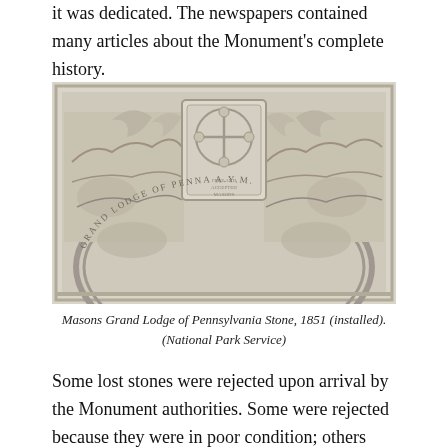it was dedicated. The newspapers contained many articles about the Monument's complete history.
[Figure (photo): Photograph of the Masons Grand Lodge of Pennsylvania Stone, 1851, showing a marble relief carving with winged angels, decorative elements, a central shield with cross motif, and an arched inscription reading 'GRAND LODGE OF PENNA A.Y.M.']
Masons Grand Lodge of Pennsylvania Stone, 1851 (installed). (National Park Service)
Some lost stones were rejected upon arrival by the Monument authorities. Some were rejected because they were in poor condition; others may have advertised their senders more than honor George